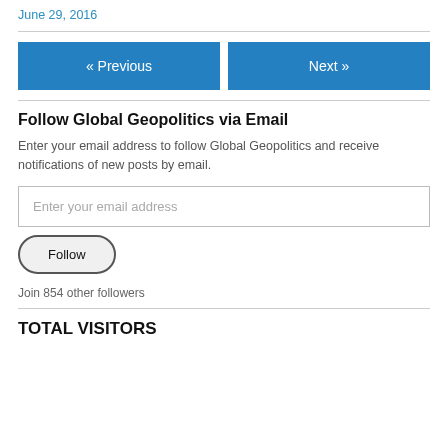June 29, 2016
« Previous
Next »
Follow Global Geopolitics via Email
Enter your email address to follow Global Geopolitics and receive notifications of new posts by email.
Enter your email address
Follow
Join 854 other followers
TOTAL VISITORS